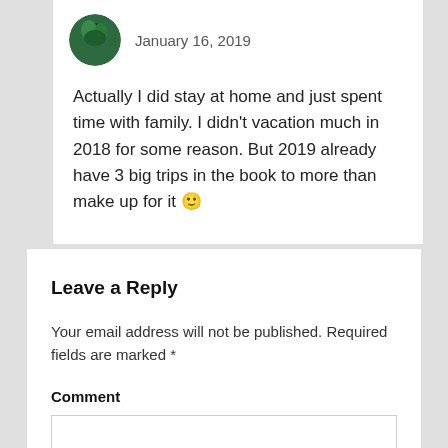January 16, 2019
Actually I did stay at home and just spent time with family. I didn't vacation much in 2018 for some reason. But 2019 already have 3 big trips in the book to more than make up for it 🙂
Leave a Reply
Your email address will not be published. Required fields are marked *
Comment